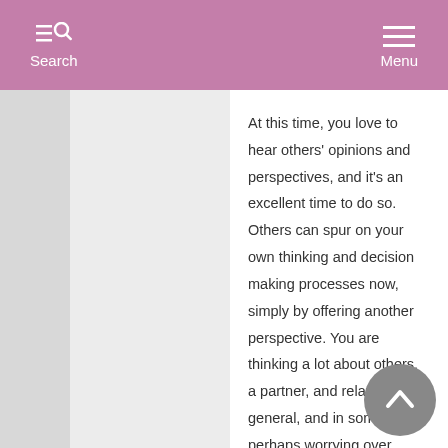Search  Menu
At this time, you love to hear others' opinions and perspectives, and it's an excellent time to do so. Others can spur on your own thinking and decision making processes now, simply by offering another perspective. You are thinking a lot about others, a partner, and relating in general, and in some cases perhaps worrying over these things.
From May 7-21: